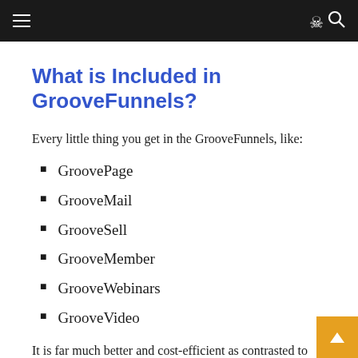Navigation bar with hamburger menu and search icon
What is Included in GrooveFunnels?
Every little thing you get in the GrooveFunnels, like:
GroovePage
GrooveMail
GrooveSell
GrooveMember
GrooveWebinars
GrooveVideo
It is far much better and cost-efficient as contrasted to Clickfunnels, ActivieCampaign, Kartra, WebinarJam, or